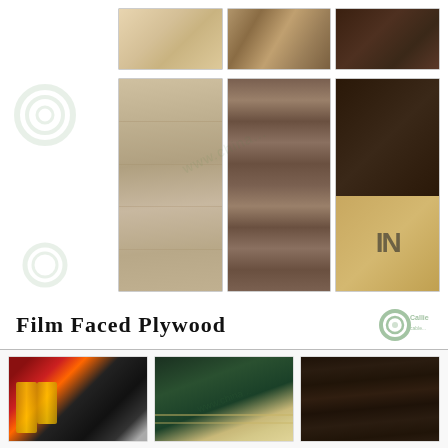[Figure (photo): Grid of plywood and wood panel product photos showing various wood textures and cross-sections including light wood veneer, stacked plywood edges, dark panels, wood grain surfaces, brown film-faced stacks, dark brown panels, and branded wood products with logo]
Film Faced Plywood
[Figure (photo): Three photos of Film Faced Plywood products: construction scaffolding with yellow pipes and dark plywood sheets, corner view of green film-faced plywood showing layers, and stacked dark film-faced plywood panels from the side]